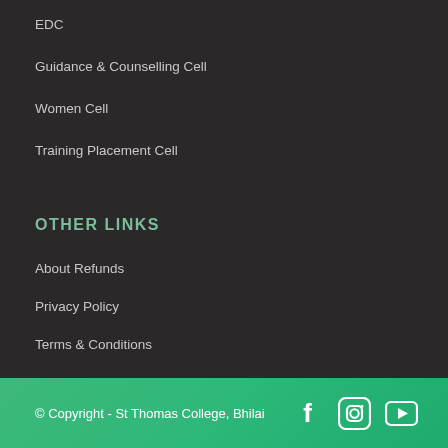EDC
Guidance & Counselling Cell
Women Cell
Training Placement Cell
OTHER LINKS
About Refunds
Privacy Policy
Terms & Conditions
© Copyright - St Thomas College, Bhilai